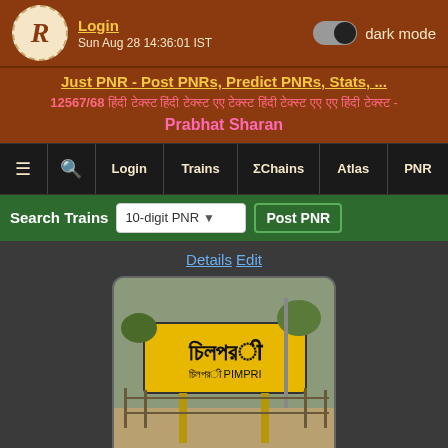Login | Sun Aug 28 14:36:01 IST | dark mode
Just PNR - Post PNRs, Predict PNRs, Stats, ...
12567/68 [Hindi text] - Prabhat Sharan
≡ | Search | Login | Trains | ΣChains | Atlas | PNR
Search Trains | 10-digit PNR | Post PNR
Details Edit
[Figure (photo): Photograph of Pimpri railway station sign board showing Hindi text 'चिंपरी' and English 'PIMPRI' on a yellow background]
Entry# 1591392-0
Scroll to